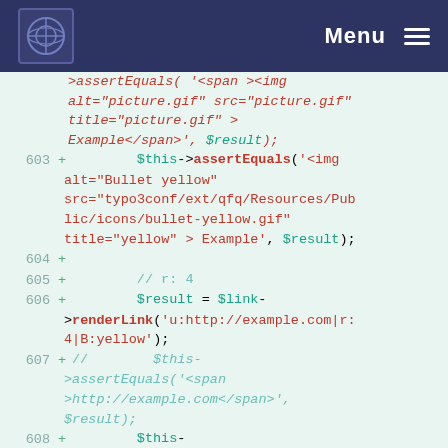Menu
Code diff snippet showing PHP unit test assertions for renderLink, lines 603-608